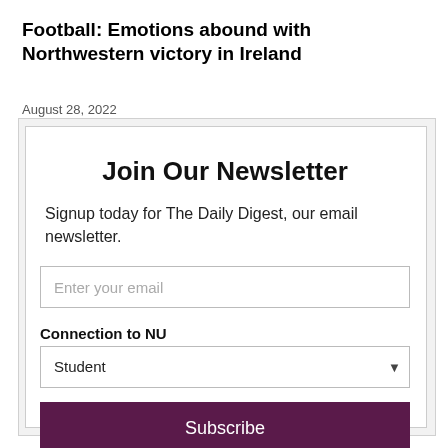Football: Emotions abound with Northwestern victory in Ireland
August 28, 2022
Join Our Newsletter
Signup today for The Daily Digest, our email newsletter.
Enter your email
Connection to NU
Student
Subscribe
powered by MailMunch